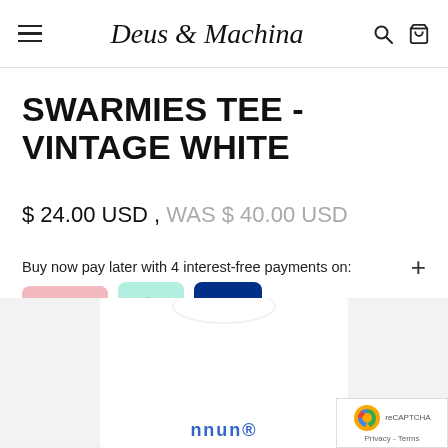Deus Ex Machina
SWARMIES TEE - VINTAGE WHITE
$ 24.00 USD , WAS $ 40.00 USD
Buy now pay later with 4 interest-free payments on:
[Figure (logo): Klarna, Afterpay, and PayPal payment logos]
[Figure (photo): Product photo of white t-shirt with blue graphic text at bottom]